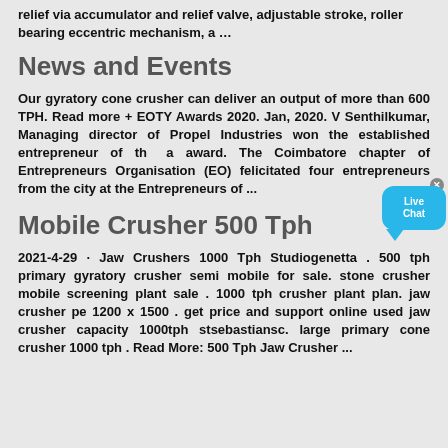relief via accumulator and relief valve, adjustable stroke, roller bearing eccentric mechanism, a …
News and Events
Our gyratory cone crusher can deliver an output of more than 600 TPH. Read more + EOTY Awards 2020. Jan, 2020. V Senthilkumar, Managing director of Propel Industries won the established entrepreneur of the a award. The Coimbatore chapter of Entrepreneurs Organisation (EO) felicitated four entrepreneurs from the city at the Entrepreneurs of ...
Mobile Crusher 500 Tph
2021-4-29 · Jaw Crushers 1000 Tph Studiogenetta . 500 tph primary gyratory crusher semi mobile for sale. stone crusher mobile screening plant sale . 1000 tph crusher plant plan. jaw crusher pe 1200 x 1500 . get price and support online used jaw crusher capacity 1000tph stsebastiansc. large primary cone crusher 1000 tph . Read More: 500 Tph Jaw Crusher ...